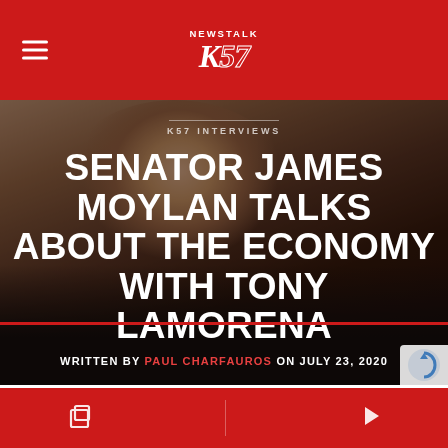Newstalk K57
K57 INTERVIEWS
SENATOR JAMES MOYLAN TALKS ABOUT THE ECONOMY WITH TONY LAMORENA
WRITTEN BY PAUL CHARFAUROS ON JULY 23, 2020
[Figure (photo): Portrait photo of Senator James Moylan in a dark suit and red tie, used as article hero image background]
Navigation icons: stack/copy icon and play icon